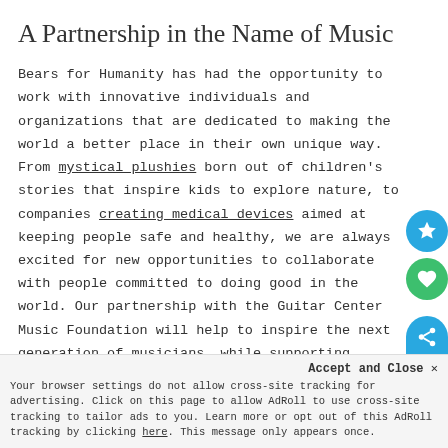A Partnership in the Name of Music
Bears for Humanity has had the opportunity to work with innovative individuals and organizations that are dedicated to making the world a better place in their own unique way. From mystical plushies born out of children's stories that inspire kids to explore nature, to companies creating medical devices aimed at keeping people safe and healthy, we are always excited for new opportunities to collaborate with people committed to doing good in the world. Our partnership with the Guitar Center Music Foundation will help to inspire the next generation of musicians, while supporting current music programs across the U.S.
Accept and Close ✕
Your browser settings do not allow cross-site tracking for advertising. Click on this page to allow AdRoll to use cross-site tracking to tailor ads to you. Learn more or opt out of this AdRoll tracking by clicking here. This message only appears once.